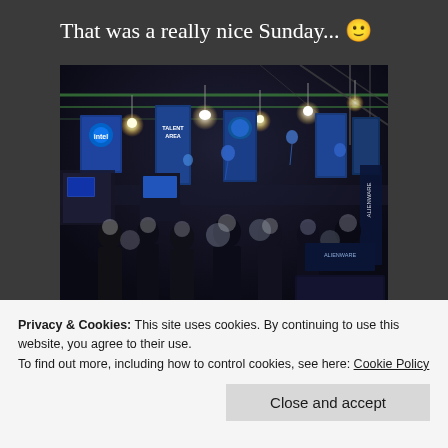That was a really nice Sunday... 🙂
[Figure (photo): Indoor technology/gaming event with crowd of people walking around exhibition hall, booths with Intel banners and blue balloons, hanging ceiling lights and truss structure, blue promotional banners]
Privacy & Cookies: This site uses cookies. By continuing to use this website, you agree to their use.
To find out more, including how to control cookies, see here: Cookie Policy
Close and accept